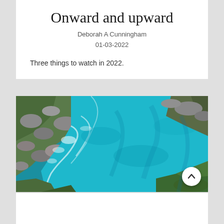Onward and upward
Deborah A Cunningham
01-03-2022
Three things to watch in 2022.
[Figure (photo): Aerial view of a turquoise river or stream flowing through rocky terrain with green vegetation on the banks]